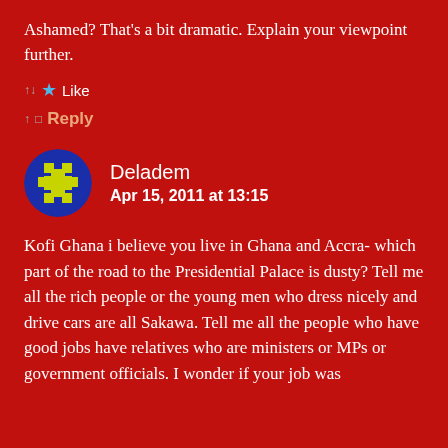Ashamed? That's a bit dramatic. Explain your viewpoint further.
★ Like
↑ Reply
Deladem
Apr 15, 2011 at 13:15
Kofi Ghana i believe you live in Ghana and Accra- which part of the road to the Presidential Palace is dusty? Tell me all the rich people or the young men who dress nicely and drive cars are all Sakawa. Tell me all the people who have good jobs have relatives who are ministers or MPs or government officials. I wonder if your job was